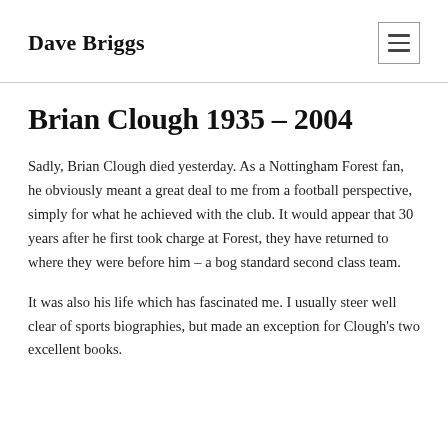Dave Briggs
Brian Clough 1935 – 2004
Sadly, Brian Clough died yesterday. As a Nottingham Forest fan, he obviously meant a great deal to me from a football perspective, simply for what he achieved with the club. It would appear that 30 years after he first took charge at Forest, they have returned to where they were before him – a bog standard second class team.
It was also his life which has fascinated me. I usually steer well clear of sports biographies, but made an exception for Clough's two excellent books.